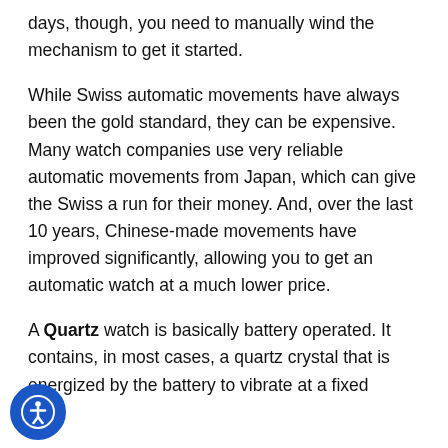days, though, you need to manually wind the mechanism to get it started.
While Swiss automatic movements have always been the gold standard, they can be expensive. Many watch companies use very reliable automatic movements from Japan, which can give the Swiss a run for their money. And, over the last 10 years, Chinese-made movements have improved significantly, allowing you to get an automatic watch at a much lower price.
A Quartz watch is basically battery operated. It contains, in most cases, a quartz crystal that is energized by the battery to vibrate at a fixed